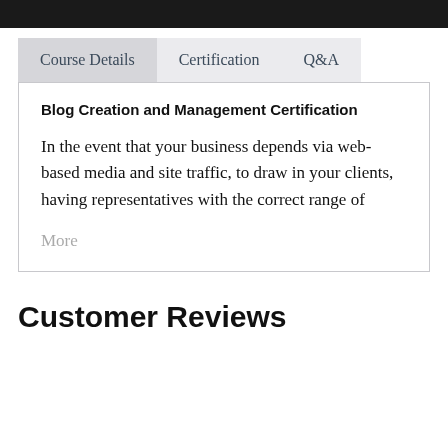Course Details | Certification | Q&A
Blog Creation and Management Certification
In the event that your business depends via web-based media and site traffic, to draw in your clients, having representatives with the correct range of
More
Customer Reviews